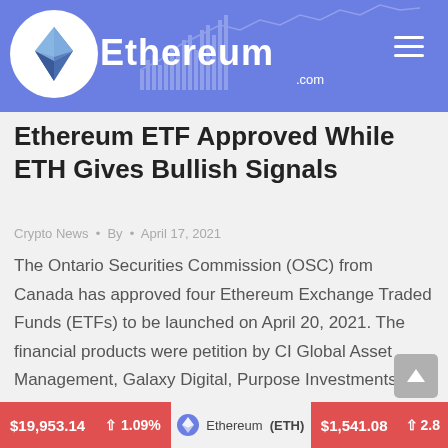Ethereum.com
Ethereum ETF Approved While ETH Gives Bullish Signals
Crypto News · By · April 17, 2021
The Ontario Securities Commission (OSC) from Canada has approved four Ethereum Exchange Traded Funds (ETFs) to be launched on April 20, 2021. The financial products were petition by CI Global Asset Management, Galaxy Digital, Purpose Investments, and Evolve ETFs. Three months ago, Canada became the first country in North America to approve a Bitcoin ETF....
$19,953.14 ↑ 1.09% Ethereum (ETH) $1,541.08 ↑ 2.8%